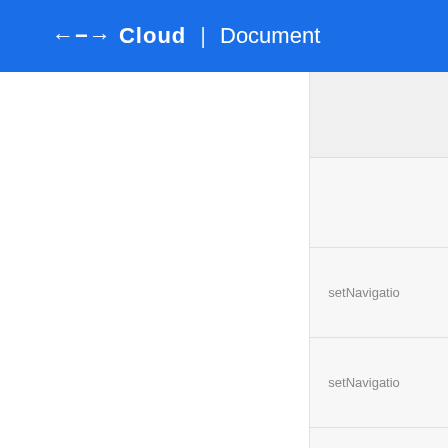NHN Cloud | Document
setNavigatio
setNavigatio
setNavigatio
setBackButt